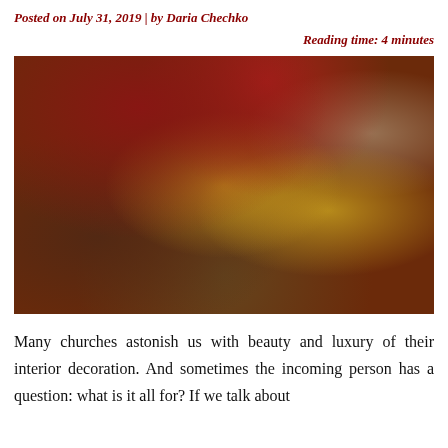Posted on July 31, 2019 | by Daria Chechko
Reading time: 4 minutes
[Figure (photo): Orthodox church altar table with gold candlesticks, chalice, liturgical vessels, and a red velvet cloth with gold trim draped over a cross or stand. A wooden cross is visible in the background near a window.]
Many churches astonish us with beauty and luxury of their interior decoration. And sometimes the incoming person has a question: what is it all for? If we talk about